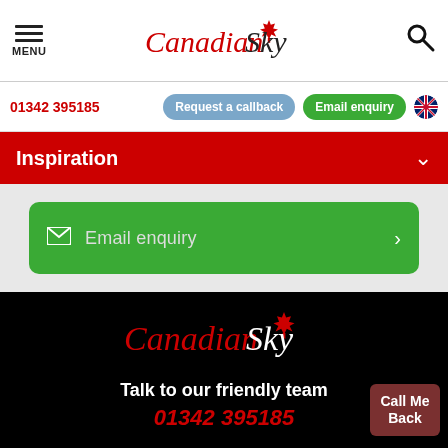[Figure (logo): Canadian Sky travel company logo with red maple leaf, showing hamburger menu icon and search icon in header navigation bar]
01342 395185  Request a callback  Email enquiry
Inspiration
Email enquiry
[Figure (logo): Canadian Sky logo on black background with red maple leaf, 'Canadian' in red italic and 'Sky' in white italic]
Talk to our friendly team
01342 395185
Call Me Back